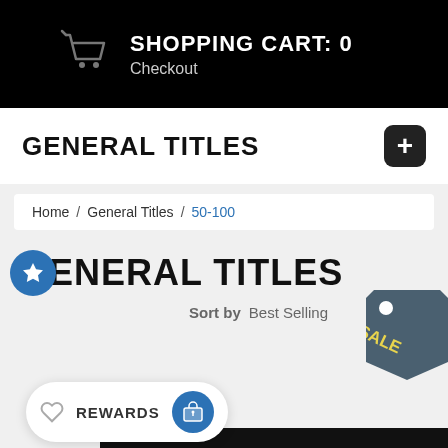SHOPPING CART: 0  Checkout
GENERAL TITLES
Home / General Titles / 50-100
GENERAL TITLES
Sort by  Best Selling
[Figure (infographic): Sale tag badge in dark teal/gray color with yellow text SALE]
REWARDS